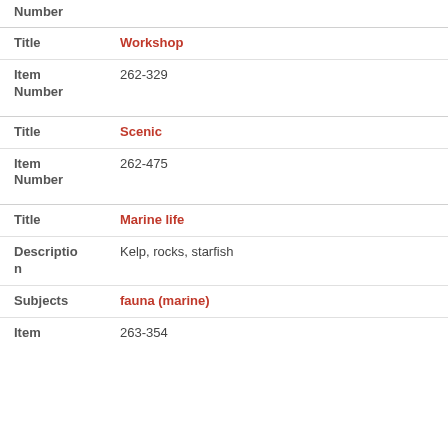Number
| Field | Value |
| --- | --- |
| Title | Workshop |
| Item Number | 262-329 |
| Field | Value |
| --- | --- |
| Title | Scenic |
| Item Number | 262-475 |
| Field | Value |
| --- | --- |
| Title | Marine life |
| Description | Kelp, rocks, starfish |
| Subjects | fauna (marine) |
| Item | 263-354 |